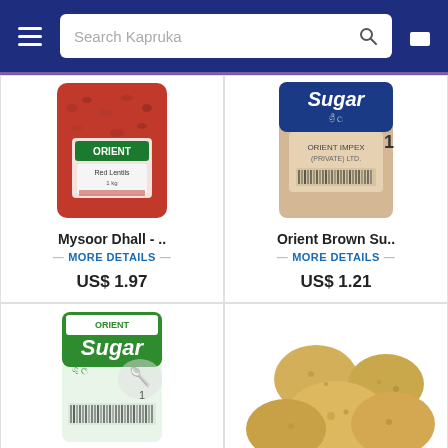Search Kapruka
[Figure (photo): Mysoor Dhall product package photo - red lentils bag with Orient label]
Mysoor Dhall - ..
MORE DETAILS
US$ 1.97
[Figure (photo): Orient Brown Sugar product package photo - brown sugar bag]
Orient Brown Su..
MORE DETAILS
US$ 1.21
[Figure (photo): Orient Sugar product package photo - white sugar bag with green label]
US$ 3.03
[Figure (photo): Potatoes product photo - pile of fresh potatoes]
ADD TO CART